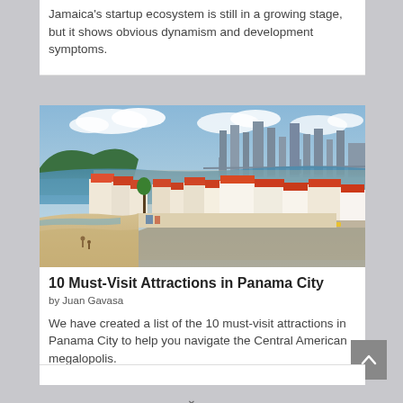Jamaica's startup ecosystem is still in a growing stage, but it shows obvious dynamism and development symptoms.
[Figure (photo): Aerial view of Panama City's historic district (Casco Viejo) with sandy beach in foreground, colonial buildings with red-tiled roofs, ocean and modern city skyline with skyscrapers in the background.]
10 Must-Visit Attractions in Panama City
by Juan Gavasa
We have created a list of the 10 must-visit attractions in Panama City to help you navigate the Central American megalopolis.